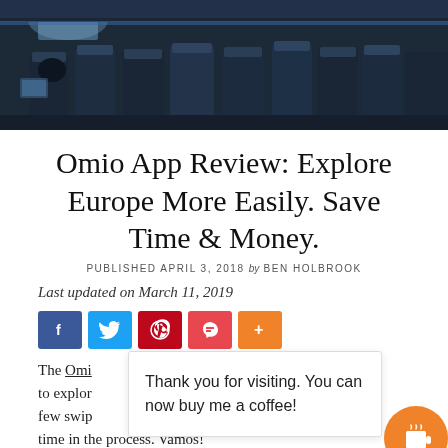[Figure (photo): Interior of a train or airplane cabin with rows of seats, dark blue upholstery, passengers visible, viewed from rear]
Omio App Review: Explore Europe More Easily. Save Time & Money.
PUBLISHED APRIL 3, 2018 by BEN HOLBROOK
Last updated on March 11, 2019
[Figure (other): Social share buttons: Facebook (blue), Twitter (light blue), Pinterest (red), Pocket (red), Plus (orange)]
The Omi[o app makes it] possible to explor[e Europe wi]th j[ust a] few swip[es, saving you] an[d] time in the process. Vamos!
Thank you for visiting. You can now buy me a coffee!